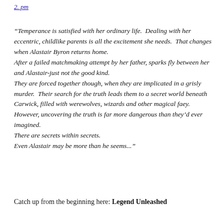2. pm
“Temperance is satisfied with her ordinary life. Dealing with her eccentric, childlike parents is all the excitement she needs. That changes when Alastair Byron returns home.
After a failed matchmaking attempt by her father, sparks fly between her and Alastair-just not the good kind.
They are forced together though, when they are implicated in a grisly murder. Their search for the truth leads them to a secret world beneath Carwick, filled with werewolves, wizards and other magical faey.
However, uncovering the truth is far more dangerous than they’d ever imagined.
There are secrets within secrets.
Even Alastair may be more than he seems...”
Catch up from the beginning here: Legend Unleashed